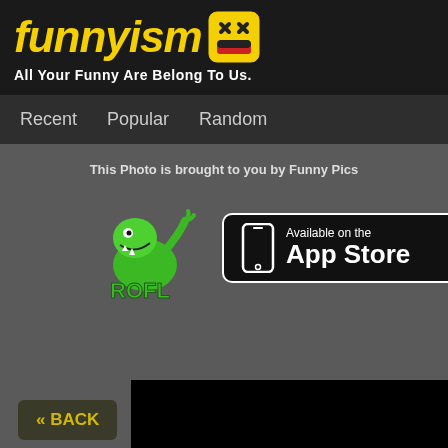funnyism
All Your Funny Are Belong To Us.
Recent   Popular   Random
This Photo is brought to you by Funny Pics
[Figure (logo): ROFL app logo with green cartoon dinosaur characters and text ROFL]
[Figure (screenshot): Available on the App Store button, black rounded rectangle with phone icon]
« BACK